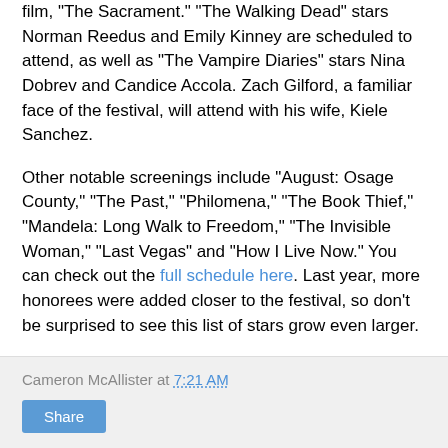film, "The Sacrament." "The Walking Dead" stars Norman Reedus and Emily Kinney are scheduled to attend, as well as "The Vampire Diaries" stars Nina Dobrev and Candice Accola. Zach Gilford, a familiar face of the festival, will attend with his wife, Kiele Sanchez.
Other notable screenings include "August: Osage County," "The Past," "Philomena," "The Book Thief," "Mandela: Long Walk to Freedom," "The Invisible Woman," "Last Vegas" and "How I Live Now." You can check out the full schedule here. Last year, more honorees were added closer to the festival, so don't be surprised to see this list of stars grow even larger.
Cameron McAllister at 7:21 AM
Share
No comments:
Post a Comment